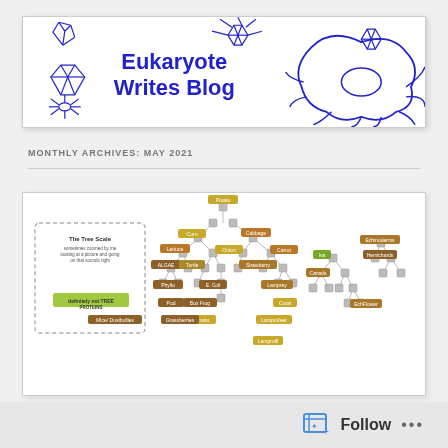[Figure (illustration): Eukaryote Writes Blog banner header with blue decorative biological/geometric illustrations and bold blue title text on white background]
MONTHLY ARCHIVES: MAY 2021
[Figure (network-graph): A hierarchical network/tree diagram showing biological taxonomy or relationship tree with colored labeled nodes connected by lines, partially visible at bottom of page]
Follow ...